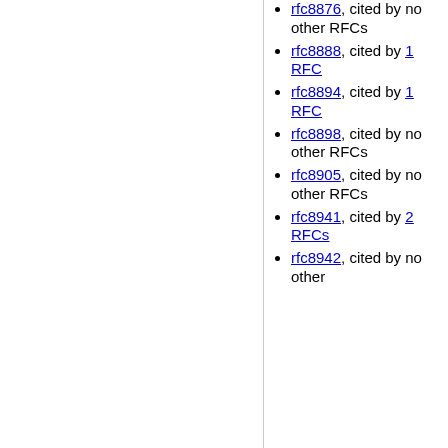rfc8876, cited by no other RFCs
rfc8888, cited by 1 RFC
rfc8894, cited by 1 RFC
rfc8898, cited by no other RFCs
rfc8905, cited by no other RFCs
rfc8941, cited by 2 RFCs
rfc8942, cited by no other